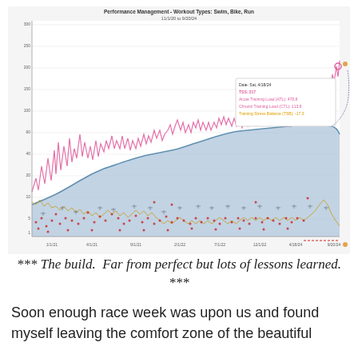[Figure (continuous-plot): Performance Management chart showing Workout Types: Swim, Bike, Run. Date range 11/1/20 to 9/20/24. Shows ATL (Acute Training Load), CTL (Chronic Training Load), and TSB (Training Stress Balance) lines over time. Pink/magenta spiky line for ATL, blue area fill for CTL, gold/orange line for TSB lower portion, red dots scattered throughout representing individual workouts. A tooltip is visible in upper right showing details: Date 4/18/24, TSS 217, Acute Training Load (ATL) 478.8, Chronic Training Load (CTL) 113.8, Training Stress Balance (TSB) -17.3. X-axis shows dates from roughly 1/1/20 to 9/20/24. Y-axis shows values from 0 to approximately 300.]
*** The build.  Far from perfect but lots of lessons learned. ***
Soon enough race week was upon us and found myself leaving the comfort zone of the beautiful